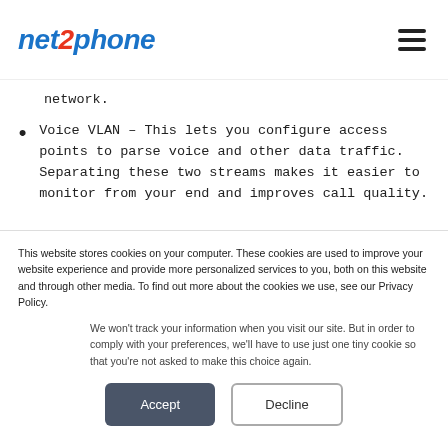net2phone
network.
Voice VLAN – This lets you configure access points to parse voice and other data traffic. Separating these two streams makes it easier to monitor from your end and improves call quality.
This website stores cookies on your computer. These cookies are used to improve your website experience and provide more personalized services to you, both on this website and through other media. To find out more about the cookies we use, see our Privacy Policy.
We won't track your information when you visit our site. But in order to comply with your preferences, we'll have to use just one tiny cookie so that you're not asked to make this choice again.